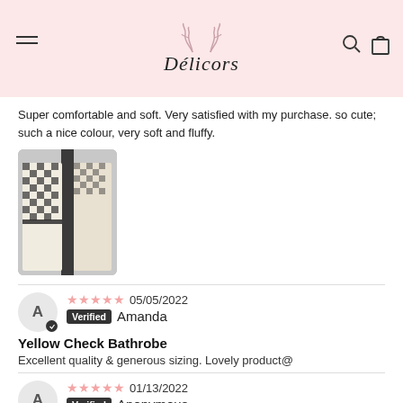Délicors
Super comfortable and soft. Very satisfied with my purchase. so cute; such a nice colour, very soft and fluffy.
[Figure (photo): Photo of a black and white checkered bathrobe hanging on a rack]
05/05/2022 — Verified Amanda
Yellow Check Bathrobe
Excellent quality & generous sizing. Lovely product@
01/13/2022 — Verified Anonymous
Caused a fight